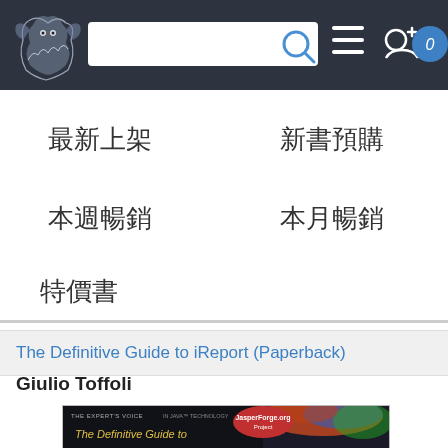[Figure (screenshot): Navigation bar with dragon logo, search bar with magnifying glass icon, hamburger menu icon, user add icon, and circular badge with 0]
[Figure (screenshot): Dropdown menu with four category links: 最新上架, 新書預購, 本週暢銷, 本月暢銷, and 特價書]
The Definitive Guide to iReport (Paperback)
Giulio Toffoli
[Figure (photo): Book cover of 'The Definitive Guide to iReport' showing dark background with colorful abstract design, JasperForge.org Project badge, and yellow/gold title text]